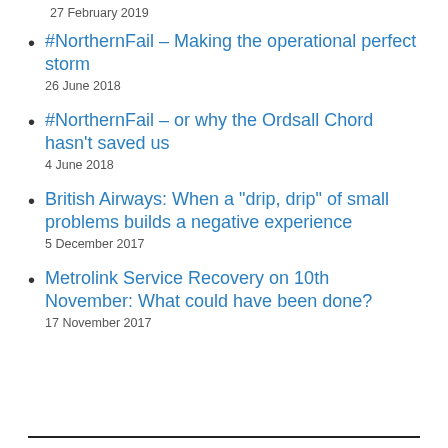27 February 2019
#NorthernFail – Making the operational perfect storm
26 June 2018
#NorthernFail – or why the Ordsall Chord hasn't saved us
4 June 2018
British Airways: When a "drip, drip" of small problems builds a negative experience
5 December 2017
Metrolink Service Recovery on 10th November: What could have been done?
17 November 2017